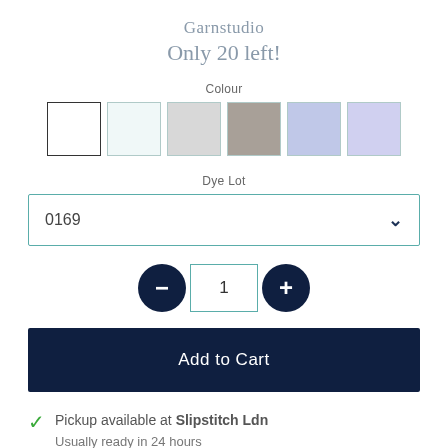Garnstudio
Only 20 left!
Colour
[Figure (other): Six colour swatches: white, off-white, light gray, medium gray, light blue, lavender]
Dye Lot
0169
1
Add to Cart
Pickup available at Slipstitch Ldn
Usually ready in 24 hours
View store information